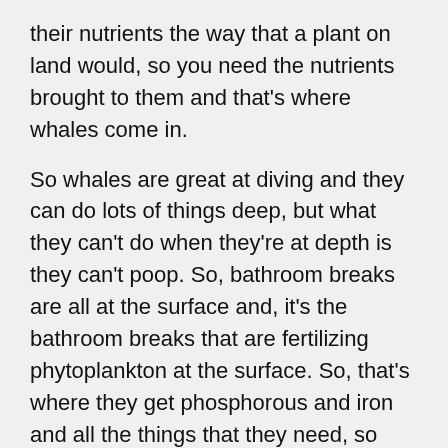their nutrients the way that a plant on land would, so you need the nutrients brought to them and that's where whales come in.
So whales are great at diving and they can do lots of things deep, but what they can't do when they're at depth is they can't poop. So, bathroom breaks are all at the surface and, it's the bathroom breaks that are fertilizing phytoplankton at the surface. So, that's where they get phosphorous and iron and all the things that they need, so they literally are tending this forest in the ocean that we need to survive. So, if we need phytoplankton and phytoplankton need whales, then we need whales and Right whales along with a lot of other whale species play that really integral role.
DOERING: And they're not eating the phytoplankton